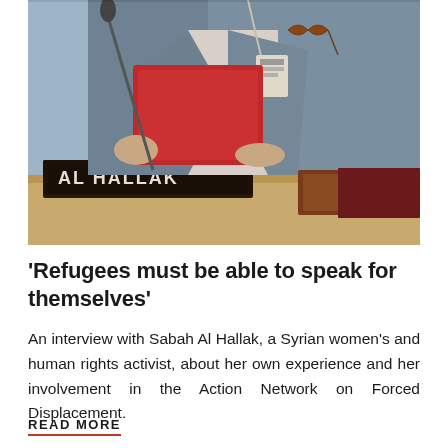[Figure (photo): A woman in a gray jacket holding a red folder at a conference table with a nameplate reading 'AL HALLAK']
'Refugees must be able to speak for themselves'
An interview with Sabah Al Hallak, a Syrian women's and human rights activist, about her own experience and her involvement in the Action Network on Forced Displacement.
READ MORE